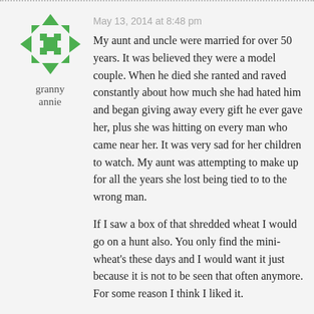[Figure (logo): Green geometric avatar icon with arrow/cross pattern]
granny annie
May 13, 2014 at 8:48 pm
My aunt and uncle were married for over 50 years. It was believed they were a model couple. When he died she ranted and raved constantly about how much she had hated him and began giving away every gift he ever gave her, plus she was hitting on every man who came near her. It was very sad for her children to watch. My aunt was attempting to make up for all the years she lost being tied to to the wrong man.
If I saw a box of that shredded wheat I would go on a hunt also. You only find the mini-wheat's these days and I would want it just because it is not to be seen that often anymore. For some reason I think I liked it.